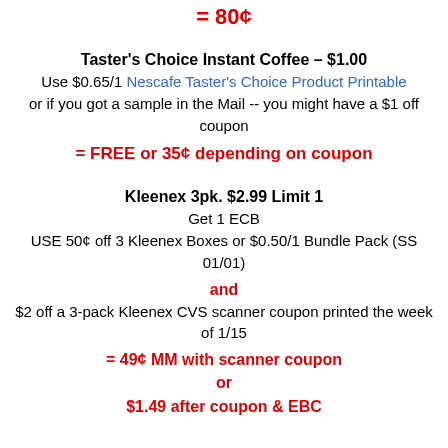= 80¢
Taster's Choice Instant Coffee – $1.00
Use $0.65/1 Nescafe Taster's Choice Product Printable
or if you got a sample in the Mail -- you might have a $1 off coupon
= FREE or 35¢ depending on coupon
Kleenex 3pk. $2.99 Limit 1
Get 1 ECB
USE 50¢ off 3 Kleenex Boxes or $0.50/1 Bundle Pack (SS 01/01)
and
$2 off a 3-pack Kleenex CVS scanner coupon printed the week of 1/15
= 49¢ MM with scanner coupon
or
$1.49 after coupon & EBC